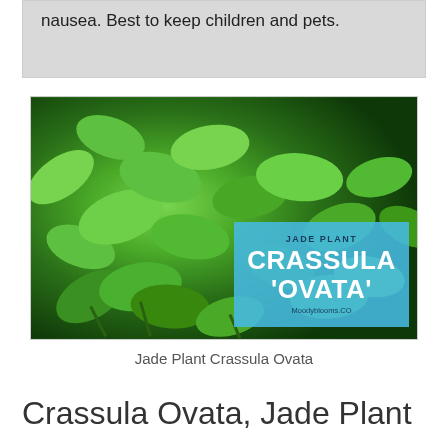nausea. Best to keep children and pets.
[Figure (photo): Close-up photo of Jade Plant (Crassula Ovata) with glossy green succulent leaves. An overlay box in the lower right corner reads 'JADE PLANT' and 'CRASSULA OVATA' in large white bold text on a light blue background, with 'Moodyblooms.CO' at the bottom.]
Jade Plant Crassula Ovata
Crassula Ovata, Jade Plant